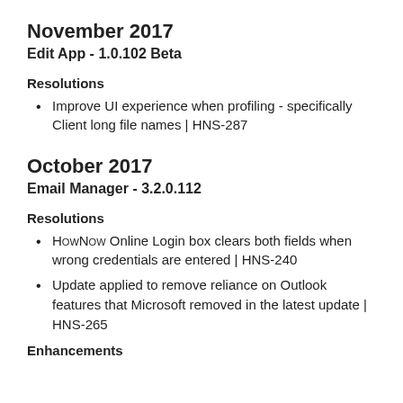November 2017
Edit App - 1.0.102 Beta
Resolutions
Improve UI experience when profiling - specifically Client long file names | HNS-287
October 2017
Email Manager - 3.2.0.112
Resolutions
HowNow Online Login box clears both fields when wrong credentials are entered | HNS-240
Update applied to remove reliance on Outlook features that Microsoft removed in the latest update | HNS-265
Enhancements